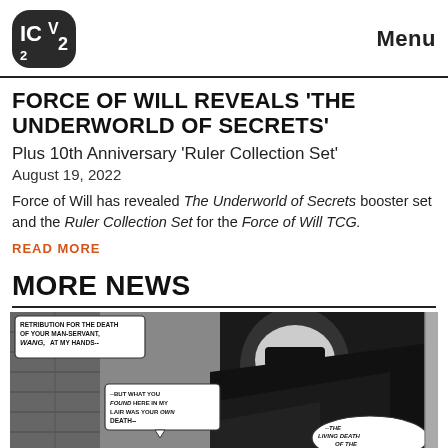ICV2 | Menu
FORCE OF WILL REVEALS 'THE UNDERWORLD OF SECRETS'
Plus 10th Anniversary 'Ruler Collection Set'
August 19, 2022
Force of Will has revealed The Underworld of Secrets booster set and the Ruler Collection Set for the Force of Will TCG.
READ MORE
MORE NEWS
[Figure (illustration): Black and white comic artwork showing a superhero/villain character with speech bubbles reading 'RETRIBUTION FOR THE DEATH OF YOUR MAN-SERVANT, WANG, AT MY HANDS--', '--BUT WHAT YOU FOUND HERE IN MY LAIR WAS YOUR OWN DEATH--', and '--THE LIVING DEATH OF THE VAMPIRE!']